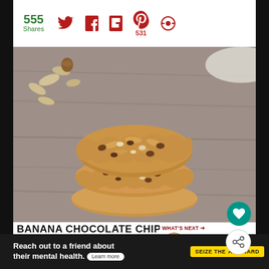555 Shares
[Figure (photo): Stack of banana chocolate chip oatmeal cookies on a rustic wooden surface with oats and hazelnuts scattered around]
BANANA CHOCOLATE CHIP COOKIES
[Figure (photo): What's Next: Irish Cream Chocolate... - thumbnail of a cookie]
PREP TIME: 10 M  |  COOK TIME: 15 M  |  TOTAL TIME: 25 M
[Figure (other): Advertisement banner: Reach out to a friend about their mental health. Learn more. Seize the Awkward.]